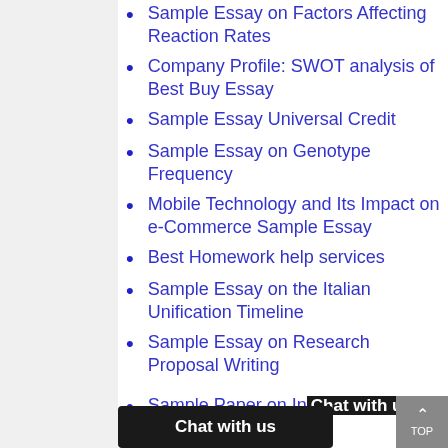Sample Essay on Factors Affecting Reaction Rates
Company Profile: SWOT analysis of Best Buy Essay
Sample Essay Universal Credit
Sample Essay on Genotype Frequency
Mobile Technology and Its Impact on e-Commerce Sample Essay
Best Homework help services
Sample Essay on the Italian Unification Timeline
Sample Essay on Research Proposal Writing
Sample Paper on Incorporating Environmental or social on...